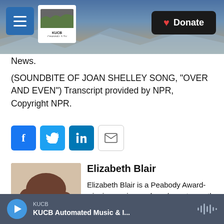KUCB Channel 5 TV — Donate
News.
(SOUNDBITE OF JOAN SHELLEY SONG, "OVER AND EVEN") Transcript provided by NPR, Copyright NPR.
[Figure (other): Social sharing buttons: Facebook, Twitter, LinkedIn, Email]
[Figure (photo): Headshot photo of Elizabeth Blair]
Elizabeth Blair
Elizabeth Blair is a Peabody Award-winning senior producer/reporter on the Arts Desk of NPR News.
KUCB — KUCB Automated Music & I...